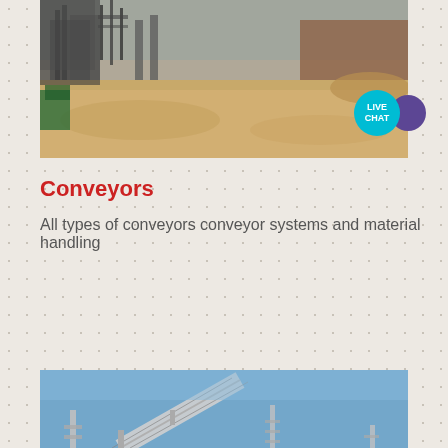[Figure (photo): Aerial/ground-level view of a sandy industrial site with conveyor structures and brick walls in background]
Conveyors
All types of conveyors conveyor systems and material handling
[Figure (photo): Outdoor photo of a large conveyor structure against a blue sky, with support towers visible]